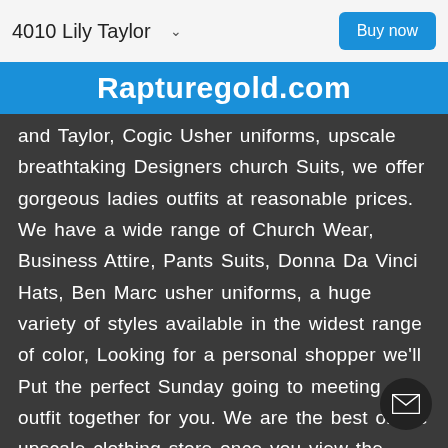4010 Lily Taylor ∨   Buy now
Rapturegold.com
and Taylor, Cogic Usher uniforms, upscale breathtaking Designers church Suits, we offer gorgeous ladies outfits at reasonable prices. We have a wide range of Church Wear, Business Attire, Pants Suits, Donna Da Vinci Hats, Ben Marc usher uniforms, a huge variety of styles available in the widest range of color, Looking for a personal shopper we'll Put the perfect Sunday going to meeting outfit together for you. We are the best online upscale clothing store once you view the website you will love shopping with our company. Looking for discounts use code 727. let us be personal shoppers, we have stunning Upscale